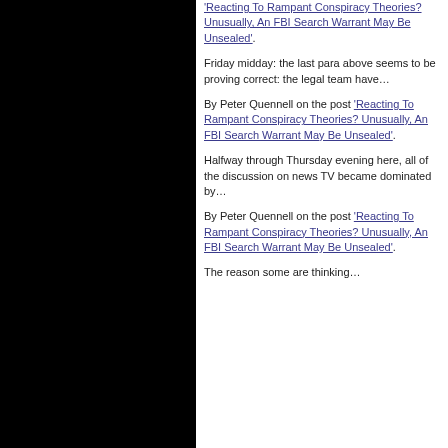'Reacting To Rampant Conspiracy Theories? Unusually, An FBI Search Warrant May Be Unsealed'.
Friday midday: the last para above seems to be proving correct: the legal team have…
By Peter Quennell on the post 'Reacting To Rampant Conspiracy Theories? Unusually, An FBI Search Warrant May Be Unsealed'.
Halfway through Thursday evening here, all of the discussion on news TV became dominated by…
By Peter Quennell on the post 'Reacting To Rampant Conspiracy Theories? Unusually, An FBI Search Warrant May Be Unsealed'.
The reason some are thinking…